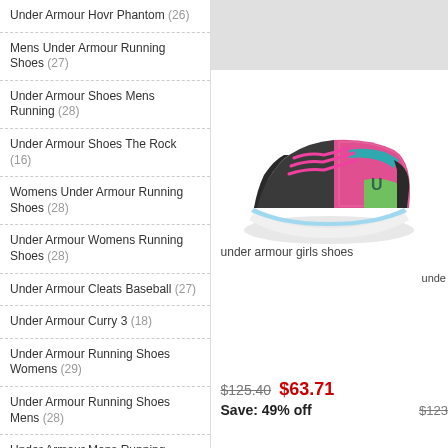Under Armour Hovr Phantom (26)
Mens Under Armour Running Shoes (27)
Under Armour Shoes Mens Running (28)
Under Armour Shoes The Rock (16)
Womens Under Armour Running Shoes (28)
Under Armour Womens Running Shoes (28)
Under Armour Cleats Baseball (27)
Under Armour Curry 3 (18)
Under Armour Running Shoes Womens (29)
Under Armour Running Shoes Mens (28)
Under Armour Mens Running Shoes (29)
Under Armour Shoes Running Mens (29)
[Figure (photo): Under Armour girls running shoe with pink laces and colorful gradient upper]
under armour girls shoes
$125.40  $63.71  Save: 49% off